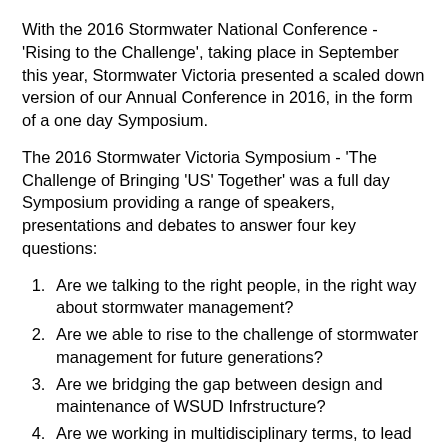With the 2016 Stormwater National Conference - 'Rising to the Challenge', taking place in September this year, Stormwater Victoria presented a scaled down version of our Annual Conference in 2016, in the form of a one day Symposium.
The 2016 Stormwater Victoria Symposium - 'The Challenge of Bringing 'US' Together' was a full day Symposium providing a range of speakers, presentations and debates to answer four key questions:
Are we talking to the right people, in the right way about stormwater management?
Are we able to rise to the challenge of stormwater management for future generations?
Are we bridging the gap between design and maintenance of WSUD Infrstructure?
Are we working in multidisciplinary terms, to lead and influence in the right direction?
The Symposium program included a range of presentation types, including multi-stream content providing self content